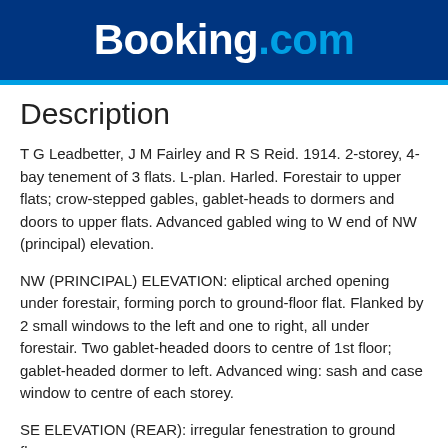[Figure (logo): Booking.com logo — white bold 'Booking' and blue '.com' on dark blue background]
Description
T G Leadbetter, J M Fairley and R S Reid. 1914. 2-storey, 4-bay tenement of 3 flats. L-plan. Harled. Forestair to upper flats; crow-stepped gables, gablet-heads to dormers and doors to upper flats. Advanced gabled wing to W end of NW (principal) elevation.
NW (PRINCIPAL) ELEVATION: eliptical arched opening under forestair, forming porch to ground-floor flat. Flanked by 2 small windows to the left and one to right, all under forestair. Two gablet-headed doors to centre of 1st floor; gablet-headed dormer to left. Advanced wing: sash and case window to centre of each storey.
SE ELEVATION (REAR): irregular fenestration to ground floor;